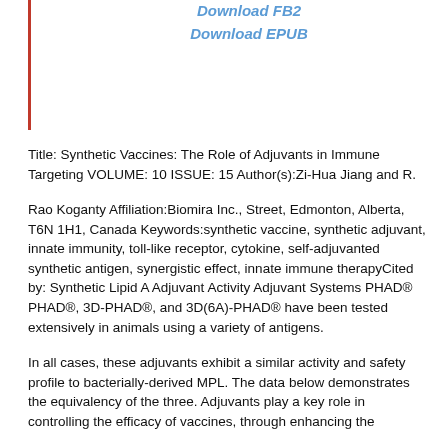Download FB2
Download EPUB
Title: Synthetic Vaccines: The Role of Adjuvants in Immune Targeting VOLUME: 10 ISSUE: 15 Author(s):Zi-Hua Jiang and R.
Rao Koganty Affiliation:Biomira Inc., Street, Edmonton, Alberta, T6N 1H1, Canada Keywords:synthetic vaccine, synthetic adjuvant, innate immunity, toll-like receptor, cytokine, self-adjuvanted synthetic antigen, synergistic effect, innate immune therapyCited by: Synthetic Lipid A Adjuvant Activity Adjuvant Systems PHAD® PHAD®, 3D-PHAD®, and 3D(6A)-PHAD® have been tested extensively in animals using a variety of antigens.
In all cases, these adjuvants exhibit a similar activity and safety profile to bacterially-derived MPL. The data below demonstrates the equivalency of the three. Adjuvants play a key role in controlling the efficacy of vaccines, through enhancing the